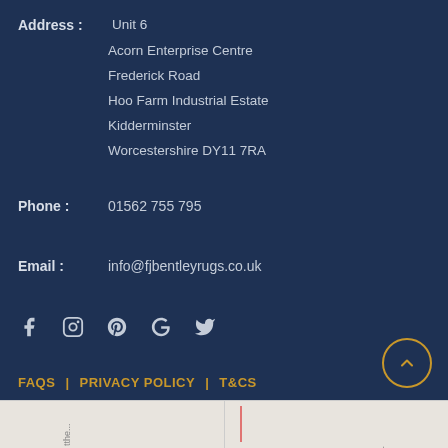Address: Unit 6 Acorn Enterprise Centre Frederick Road Hoo Farm Industrial Estate Kidderminster Worcestershire DY11 7RA
Phone: 01562 755 795
Email: info@fjbentleyrugs.co.uk
[Figure (other): Social media icons: Facebook, Instagram, Pinterest, Google, Twitter]
FAQS | PRIVACY POLICY | T&CS
[Figure (map): Partial Google Maps view showing street map]